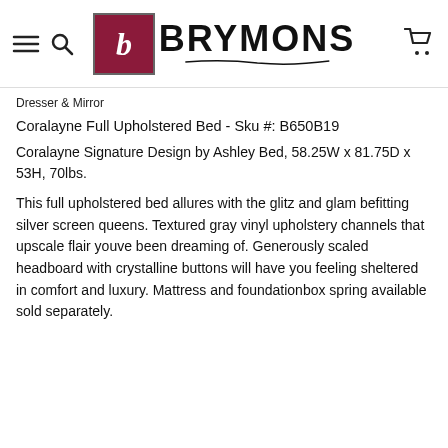Brymons
Dresser & Mirror
Coralayne Full Upholstered Bed - Sku #: B650B19
Coralayne Signature Design by Ashley Bed, 58.25W x 81.75D x 53H, 70lbs.
This full upholstered bed allures with the glitz and glam befitting silver screen queens. Textured gray vinyl upholstery channels that upscale flair youve been dreaming of. Generously scaled headboard with crystalline buttons will have you feeling sheltered in comfort and luxury. Mattress and foundationbox spring available sold separately.